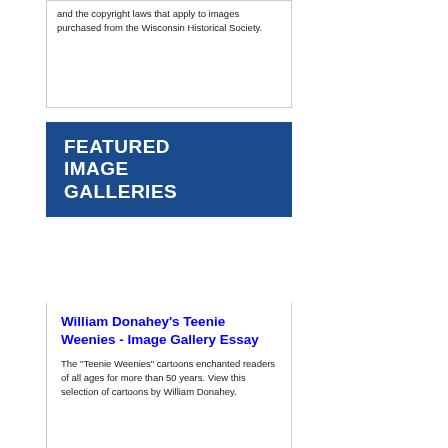and the copyright laws that apply to images purchased from the Wisconsin Historical Society.
[Figure (other): Featured Image Galleries banner with dark blue background and white bold uppercase text reading FEATURED IMAGE GALLERIES]
William Donahey's Teenie Weenies - Image Gallery Essay
The "Teenie Weenies" cartoons enchanted readers of all ages for more than 50 years. View this selection of cartoons by William Donahey.